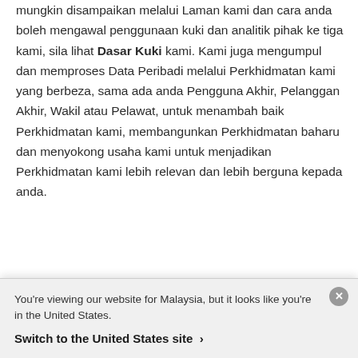mungkin disampaikan melalui Laman kami dan cara anda boleh mengawal penggunaan kuki dan analitik pihak ke tiga kami, sila lihat Dasar Kuki kami. Kami juga mengumpul dan memproses Data Peribadi melalui Perkhidmatan kami yang berbeza, sama ada anda Pengguna Akhir, Pelanggan Akhir, Wakil atau Pelawat, untuk menambah baik Perkhidmatan kami, membangunkan Perkhidmatan baharu dan menyokong usaha kami untuk menjadikan Perkhidmatan kami lebih relevan dan lebih berguna kepada anda.
Komunikasi. Kami akan menggunakan maklumat hubungan yang kami ada tentang anda untuk
You're viewing our website for Malaysia, but it looks like you're in the United States.
Switch to the United States site ›